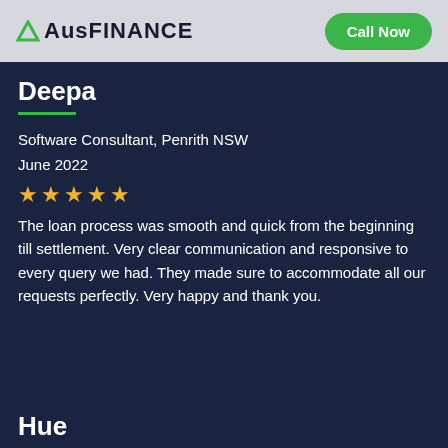AusFinance | Call Now
Deepa
Software Consultant, Penrith NSW
June 2022
★★★★★
The loan process was smooth and quick from the beginning till settlement. Very clear communication and responsive to every query we had. They made sure to accommodate all our requests perfectly. Very happy and thank you.
Hue